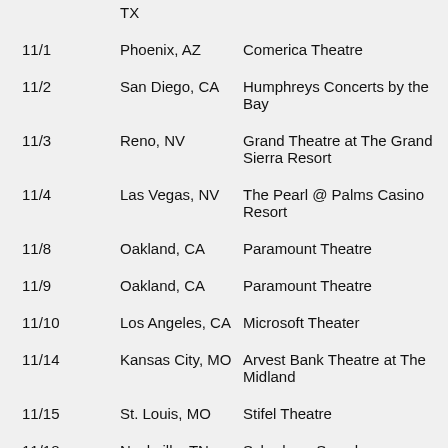| Date | City | Venue |
| --- | --- | --- |
|  | TX |  |
| 11/1 | Phoenix, AZ | Comerica Theatre |
| 11/2 | San Diego, CA | Humphreys Concerts by the Bay |
| 11/3 | Reno, NV | Grand Theatre at The Grand Sierra Resort |
| 11/4 | Las Vegas, NV | The Pearl @ Palms Casino Resort |
| 11/8 | Oakland, CA | Paramount Theatre |
| 11/9 | Oakland, CA | Paramount Theatre |
| 11/10 | Los Angeles, CA | Microsoft Theater |
| 11/14 | Kansas City, MO | Arvest Bank Theatre at The Midland |
| 11/15 | St. Louis, MO | Stifel Theatre |
| 11/18 | Nashville, TN | Scherhorn Symphony Center |